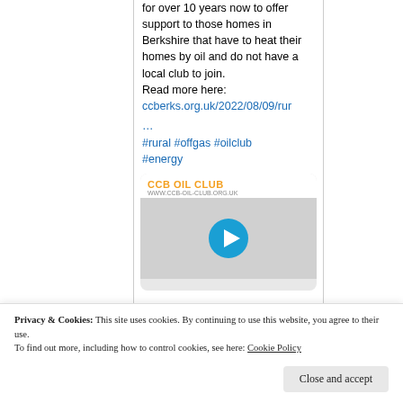for over 10 years now to offer support to those homes in Berkshire that have to heat their homes by oil and do not have a local club to join.
Read more here:
ccberks.org.uk/2022/08/09/rur
…
#rural #offgas #oilclub
#energy
[Figure (screenshot): CCB OIL CLUB video thumbnail with play button, showing www.ccb-oil-club.org.uk branding and oil boiler illustration]
@G... · Aug 20
Privacy & Cookies: This site uses cookies. By continuing to use this website, you agree to their use.
To find out more, including how to control cookies, see here: Cookie Policy
Close and accept